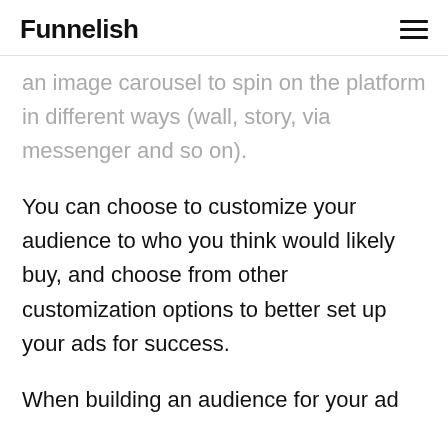Funnelish
an image carousel to spin on the platform in different ways (wall, story, via messenger and so on).
You can choose to customize your audience to who you think would likely buy, and choose from other customization options to better set up your ads for success.
When building an audience for your ad